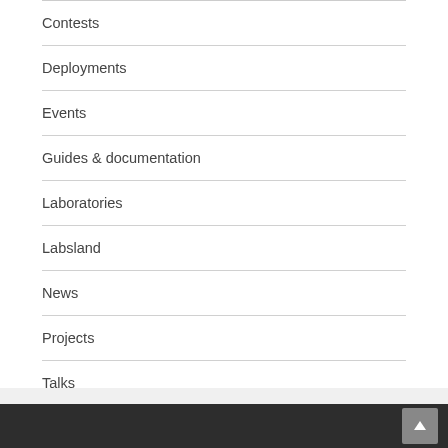Contests
Deployments
Events
Guides & documentation
Laboratories
Labsland
News
Projects
Talks
Uncategorized